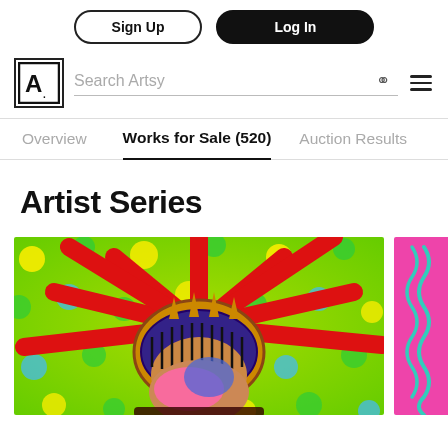Sign Up | Log In
[Figure (logo): Artsy logo - letter A in a square box with search bar, search icon and hamburger menu]
Overview | Works for Sale (520) | Auction Results
Artist Series
[Figure (photo): Colorful pop-art painting of Statue of Liberty with polka dot background in greens, yellows, reds and blues]
[Figure (photo): Partial view of a second artwork on pink background with teal squiggly lines]